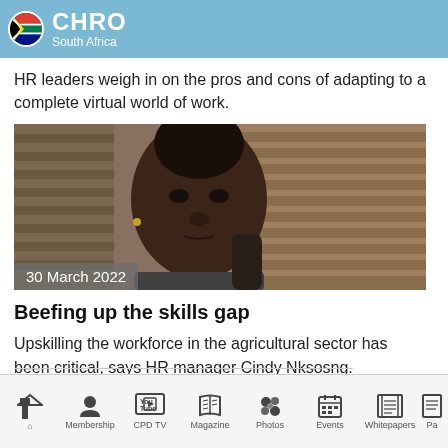CHRO South Africa
HR leaders weigh in on the pros and cons of adapting to a complete virtual world of work.
[Figure (photo): A woman with braided hair pulled up, looking at the camera, seated in front of window blinds. Date overlay reads '30 March 2022'.]
Beefing up the skills gap
Upskilling the workforce in the agricultural sector has been critical, says HR manager Cindy Nkosng.
Home | Membership | CPD TV | Magazine | Photos | Events | Whitepapers | Pa...